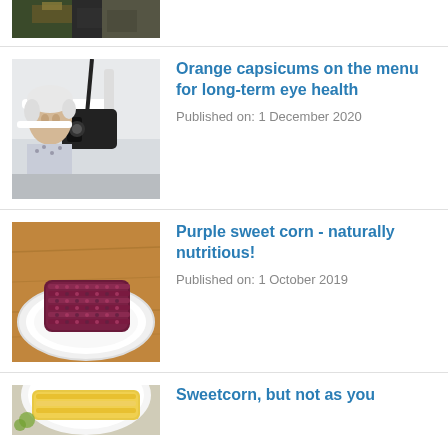[Figure (photo): Partial top image showing people in dark clothing, possibly a market or farm setting, cropped at the top of the page]
[Figure (photo): Elderly woman undergoing an eye examination with medical equipment]
Orange capsicums on the menu for long-term eye health
Published on: 1 December 2020
[Figure (photo): Purple sweet corn cob on a white plate on a wooden table]
Purple sweet corn - naturally nutritious!
Published on: 1 October 2019
[Figure (photo): Partial bottom image showing what appears to be corn or food items, partially cropped]
Sweetcorn, but not as you